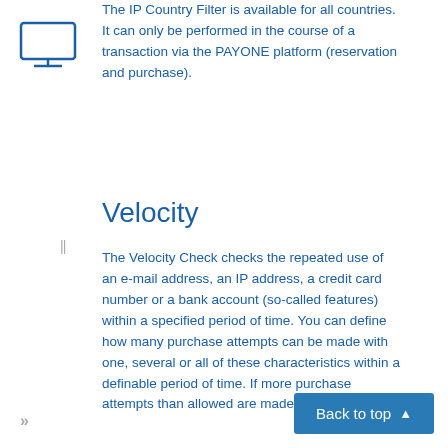[Figure (illustration): Monitor/screen icon outlined in blue]
The IP Country Filter is available for all countries. It can only be performed in the course of a transaction via the PAYONE platform (reservation and purchase).
Velocity
The Velocity Check checks the repeated use of an e-mail address, an IP address, a credit card number or a bank account (so-called features) within a specified period of time. You can define how many purchase attempts can be made with one, several or all of these characteristics within a definable period of time. If more purchase attempts than allowed are made with one of these